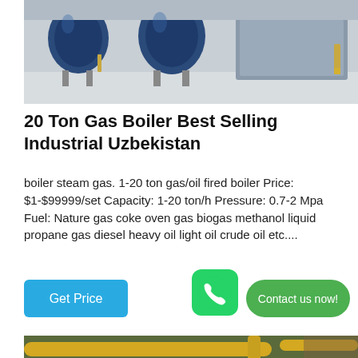[Figure (photo): Industrial gas boilers in a factory setting — three large blue cylindrical boilers on stands with pipes and machinery in a clean industrial space.]
20 Ton Gas Boiler Best Selling Industrial Uzbekistan
boiler steam gas. 1-20 ton gas/oil fired boiler Price: $1-$99999/set Capacity: 1-20 ton/h Pressure: 0.7-2 Mpa Fuel: Nature gas coke oven gas biogas methanol liquid propane gas diesel heavy oil light oil crude oil etc....
[Figure (photo): Industrial facility interior showing yellow pipes and tubing running along the ceiling and walls.]